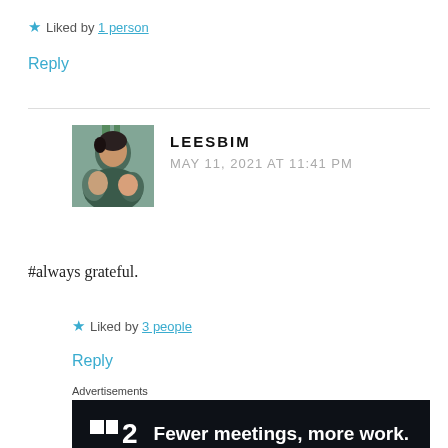★ Liked by 1 person
Reply
LEESBIM
MAY 11, 2021 AT 11:41 PM
[Figure (photo): Profile photo of commenter LEESBIM showing a woman and children outdoors]
#always grateful.
★ Liked by 3 people
Reply
Advertisements
[Figure (other): Advertisement banner: P2 logo — Fewer meetings, more work.]